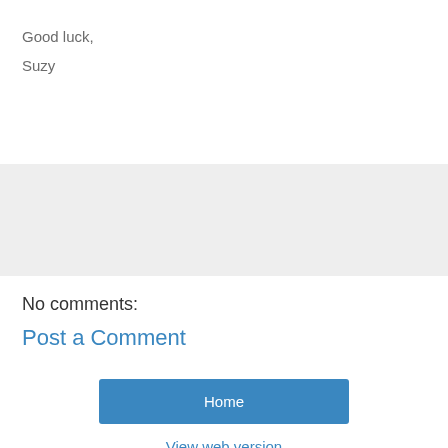Good luck,
Suzy
[Figure (other): Gray horizontal bar/divider area]
No comments:
Post a Comment
Home
View web version
Powered by Blogger.